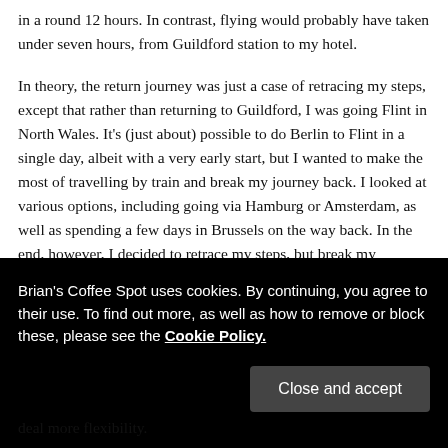in a round 12 hours. In contrast, flying would probably have taken under seven hours, from Guildford station to my hotel.
In theory, the return journey was just a case of retracing my steps, except that rather than returning to Guildford, I was going Flint in North Wales. It's (just about) possible to do Berlin to Flint in a single day, albeit with a very early start, but I wanted to make the most of travelling by train and break my journey back. I looked at various options, including going via Hamburg or Amsterdam, as well as spending a few days in Brussels on the way back. In the end, however, I decided to retrace my steps, but break my
Brian's Coffee Spot uses cookies. By continuing, you agree to their use. To find out more, as well as how to remove or block these, please see the Cookie Policy.
deal more flexibility.